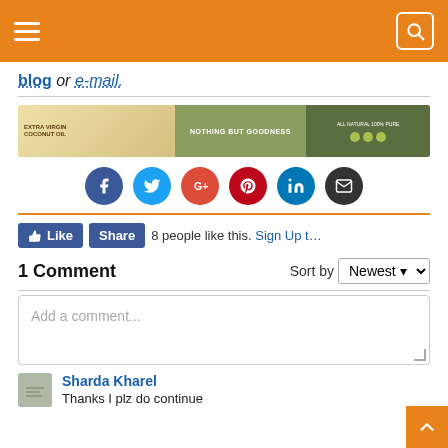Navigation bar with hamburger menu and search icon
blog or e-mail.
[Figure (photo): Advertisement banner for Extra Virgin Coconut Oil — Nothing But Goodness]
[Figure (infographic): Social sharing icons: Facebook, Twitter, Google+, Pinterest, LinkedIn, Email]
8 people like this. Sign Up t…
1 Comment
Sort by Newest
Add a comment...
Sharda Kharel
Thanks I plz do continue